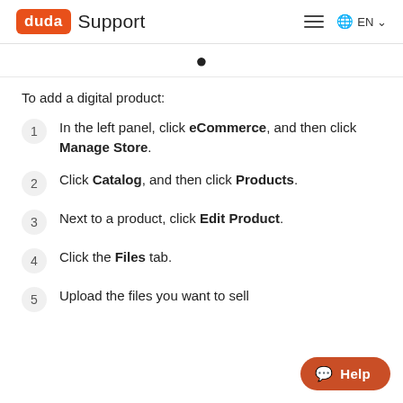duda Support
To add a digital product:
In the left panel, click eCommerce, and then click Manage Store.
Click Catalog, and then click Products.
Next to a product, click Edit Product.
Click the Files tab.
Upload the files you want to sell